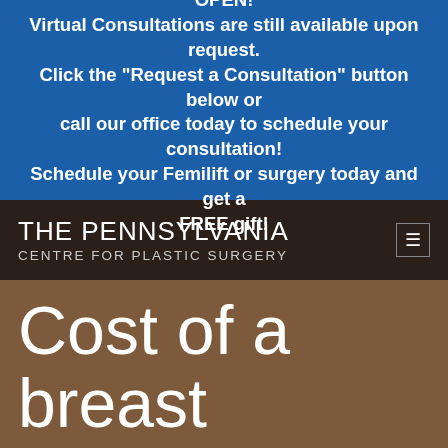We are excited to announce our office is NOW OPEN! Virtual Consultations are still available upon request. Click the "Request a Consultation" button below or call our office today to schedule your consultation! Schedule your Femilift or surgery today and get a FREE gift!
[Figure (logo): The Pennsylvania Centre for Plastic Surgery logo on dark brown background with hamburger menu icon]
Cost of a breast reduction
Call
Email
Gallery
Directions